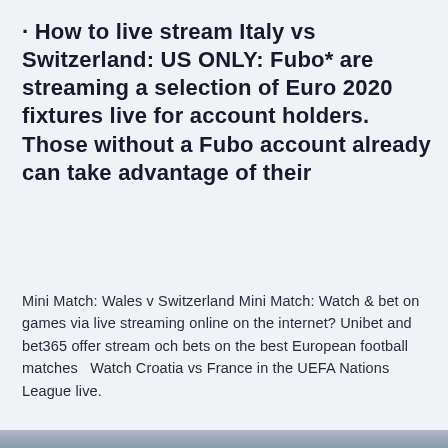· How to live stream Italy vs Switzerland: US ONLY: Fubo* are streaming a selection of Euro 2020 fixtures live for account holders. Those without a Fubo account already can take advantage of their
Mini Match: Wales v Switzerland Mini Match: Watch & bet on games via live streaming online on the internet? Unibet and bet365 offer stream och bets on the best European football matches  Watch Croatia vs France in the UEFA Nations League live.